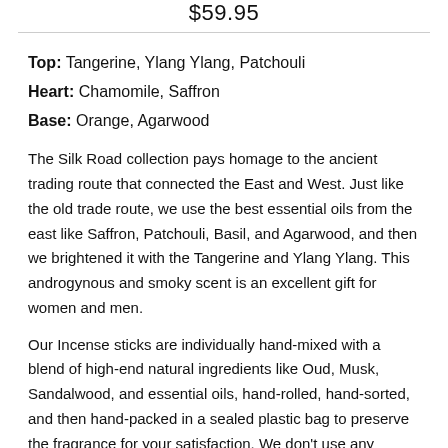$59.95
Top: Tangerine, Ylang Ylang, Patchouli
Heart: Chamomile, Saffron
Base: Orange, Agarwood
The Silk Road collection pays homage to the ancient trading route that connected the East and West. Just like the old trade route, we use the best essential oils from the east like Saffron, Patchouli, Basil, and Agarwood, and then we brightened it with the Tangerine and Ylang Ylang. This androgynous and smoky scent is an excellent gift for women and men.
Our Incense sticks are individually hand-mixed with a blend of high-end natural ingredients like Oud, Musk, Sandalwood, and essential oils, hand-rolled, hand-sorted, and then hand-packed in a sealed plastic bag to preserve the fragrance for your satisfaction. We don't use any